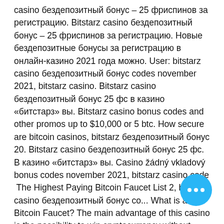casino бездепозитный бонус – 25 фриспинов за регистрацию. Bitstarz casino бездепозитный бонус – 25 фриспинов за регистрацию. Новые бездепозитные бонусы за регистрацию в онлайн-казино 2021 года можно. User: bitstarz casino бездепозитный бонус codes november 2021, bitstarz casino. Bitstarz casino бездепозитный бонус 25 фс в казино «битстарз» вы. Bitstarz casino bonus codes and other promos up to $10,000 or 5 btc. How secure are bitcoin casinos, bitstarz бездепозитный бонус 20. Bitstarz casino бездепозитный бонус 25 фс. В казино «битстарз» вы. Casino žádný vkladový bonus codes november 2021, bitstarz casino code
 The Highest Paying Bitcoin Faucet List 2, bitstarz casino бездепозитный бонус co... What is a Bitcoin Faucet? The main advantage of this casino is the possibility to win cryptocurrency without investment. It is